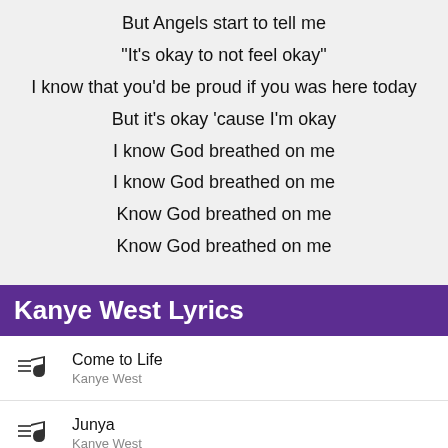But Angels start to tell me
"It's okay to not feel okay"
I know that you'd be proud if you was here today
But it's okay 'cause I'm okay
I know God breathed on me
I know God breathed on me
Know God breathed on me
Know God breathed on me
Kanye West Lyrics
Come to Life – Kanye West
Junya – Kanye West
Jonah – Kanye West